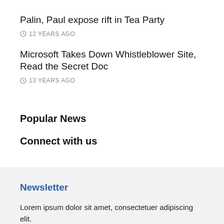Palin, Paul expose rift in Tea Party
12 YEARS AGO
Microsoft Takes Down Whistleblower Site, Read the Secret Doc
13 YEARS AGO
Popular News
Connect with us
Newsletter
Lorem ipsum dolor sit amet, consectetuer adipiscing elit.